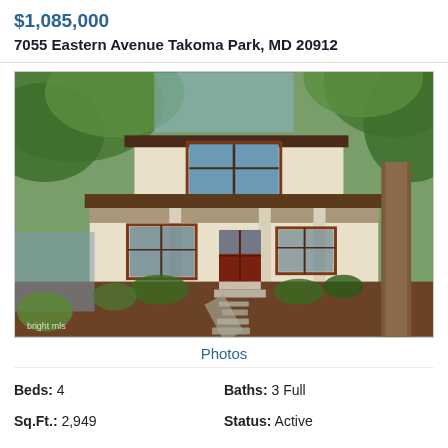$1,085,000
7055 Eastern Avenue Takoma Park, MD 20912
[Figure (photo): Exterior photo of a two-story craftsman/arts-and-crafts style house with cream/white stucco exterior, dark red/brown trim windows and porch railings, a covered front porch with columns, a stone pathway leading to the front door, surrounded by large trees and landscaping. Watermark reads 'bright mls' in bottom left corner.]
Photos
Beds: 4
Baths: 3 Full
Sq.Ft.: 2,949
Status: Active